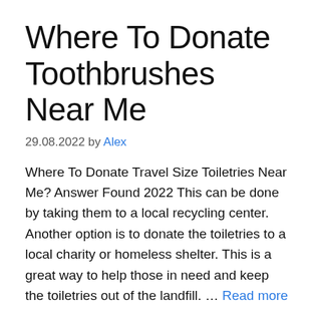Where To Donate Toothbrushes Near Me
29.08.2022 by Alex
Where To Donate Travel Size Toiletries Near Me? Answer Found 2022 This can be done by taking them to a local recycling center. Another option is to donate the toiletries to a local charity or homeless shelter. This is a great way to help those in need and keep the toiletries out of the landfill. … Read more